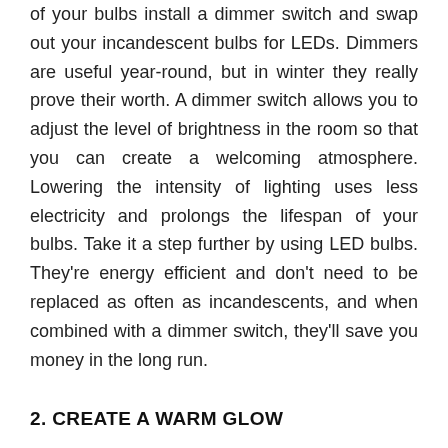of your bulbs install a dimmer switch and swap out your incandescent bulbs for LEDs. Dimmers are useful year-round, but in winter they really prove their worth. A dimmer switch allows you to adjust the level of brightness in the room so that you can create a welcoming atmosphere. Lowering the intensity of lighting uses less electricity and prolongs the lifespan of your bulbs. Take it a step further by using LED bulbs. They're energy efficient and don't need to be replaced as often as incandescents, and when combined with a dimmer switch, they'll save you money in the long run.
2. CREATE A WARM GLOW